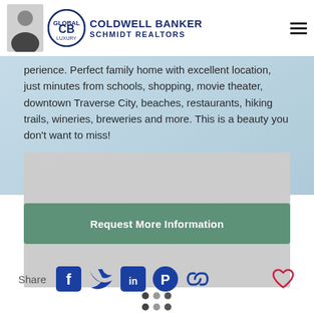Coldwell Banker Schmidt Realtors
perience. Perfect family home with excellent location, just minutes from schools, shopping, movie theater, downtown Traverse City, beaches, restaurants, hiking trails, wineries, breweries and more. This is a beauty you don't want to miss!
[Figure (photo): Gray placeholder image box representing a property photo, with a 3x3 dot grid navigation indicator below it]
Request More Information
Share